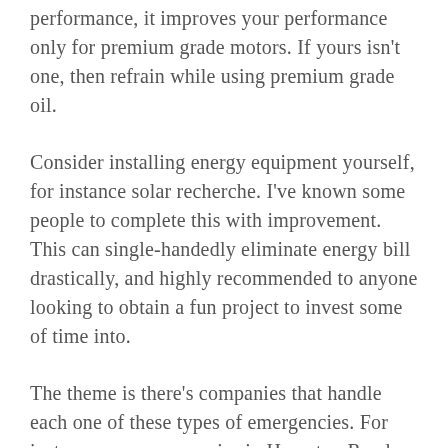performance, it improves your performance only for premium grade motors. If yours isn't one, then refrain while using premium grade oil.
Consider installing energy equipment yourself, for instance solar recherche. I've known some people to complete this with improvement. This can single-handedly eliminate energy bill drastically, and highly recommended to anyone looking to obtain a fun project to invest some of time into.
The theme is there's companies that handle each one of these types of emergencies. For instance many companies in Hampton Roads, Virginia, can handle the above scenario with one phone call to any of them. Chances are every region in Virginia has several companies with the company plan and,